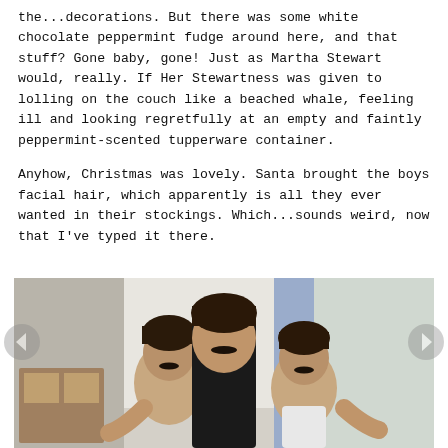the...decorations. But there was some white chocolate peppermint fudge around here, and that stuff? Gone baby, gone! Just as Martha Stewart would, really. If Her Stewartness was given to lolling on the couch like a beached whale, feeling ill and looking regretfully at an empty and faintly peppermint-scented tupperware container.
Anyhow, Christmas was lovely. Santa brought the boys facial hair, which apparently is all they ever wanted in their stockings. Which...sounds weird, now that I've typed it there.
[Figure (photo): Three boys wearing fake stick-on mustaches, posing together indoors. The tallest boy in the middle wears a black tank top; the other two are on either side. Background shows a room with light walls.]